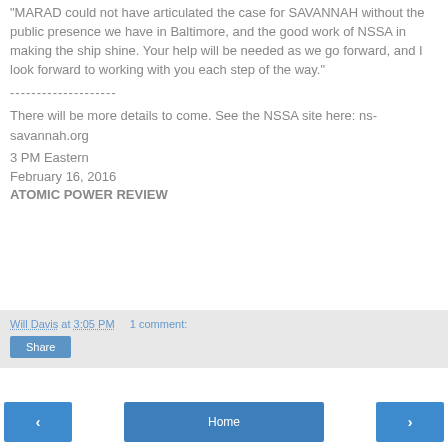MARAD could not have articulated the case for SAVANNAH without the public presence we have in Baltimore, and the good work of NSSA in making the ship shine.  Your help will be needed as we go forward, and I look forward to working with you each step of the way."
--------------------
There will be more details to come.  See the NSSA site here:  ns-savannah.org
3 PM Eastern
February 16, 2016
ATOMIC POWER REVIEW
Will Davis at 3:05 PM     1 comment:
Share
‹  Home  ›